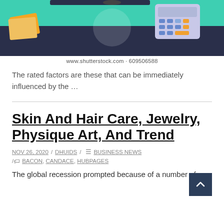[Figure (illustration): Illustrated image of a business/finance theme with calculator, documents, and desk items on a teal background. Watermark: www.shutterstock.com · 609506588]
www.shutterstock.com · 609506588
The rated factors are these that can be immediately influenced by the …
Skin And Hair Care, Jewelry, Physique Art, And Trend
NOV 26, 2020 / DHUIDS / BUSINESS NEWS / BACON, CANDACE, HUBPAGES
The global recession prompted because of a number of